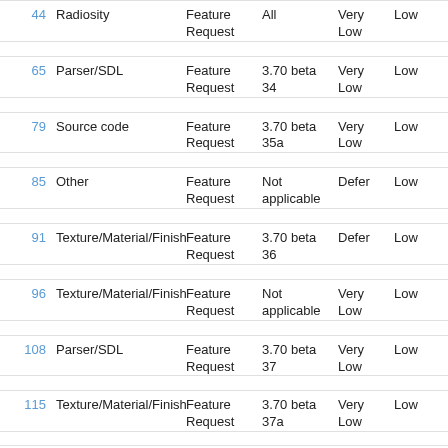| # | Category | Type | Version | Priority | Severity | Description |
| --- | --- | --- | --- | --- | --- | --- |
| 44 | Radiosity | Feature Request | All | Very Low | Low | Improve N... Radiosity |
| 65 | Parser/SDL | Feature Request | 3.70 beta 34 | Very Low | Low | Add suppo... functions |
| 79 | Source code | Feature Request | 3.70 beta 35a | Very Low | Low | Full-Featu... check the |
| 85 | Other | Feature Request | Not applicable | Defer | Low | Aspect rat... |
| 91 | Texture/Material/Finish | Feature Request | 3.70 beta 36 | Defer | Low | Slope patt... not transfo |
| 96 | Texture/Material/Finish | Feature Request | Not applicable | Very Low | Low | User-defin... |
| 108 | Parser/SDL | Feature Request | 3.70 beta 37 | Very Low | Low | motion_bl... Megapov... |
| 115 | Texture/Material/Finish | Feature Request | 3.70 beta 37a | Very Low | Low | More cuta... |
| 127 | Parser/SDL | Feature | 3.70 beta | Very | Low |  |